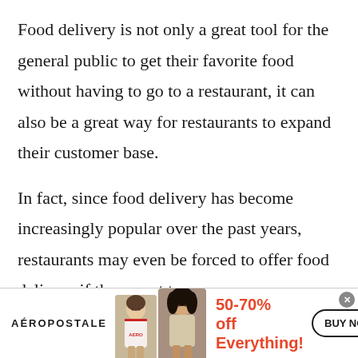Food delivery is not only a great tool for the general public to get their favorite food without having to go to a restaurant, it can also be a great way for restaurants to expand their customer base.
In fact, since food delivery has become increasingly popular over the past years, restaurants may even be forced to offer food delivery if they want to
[Figure (other): Aeropostale advertisement banner showing two models wearing Aeropostale clothing, with text '50-70% off Everything!' in red and a 'BUY NOW' button]